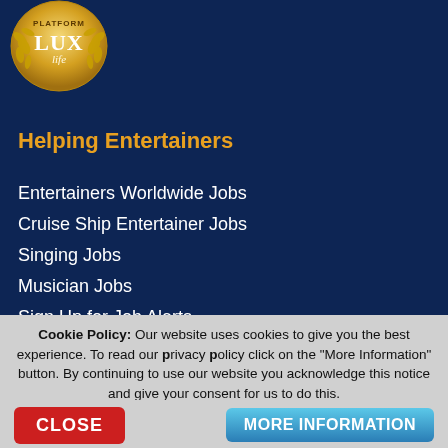[Figure (logo): LUX Life Platform award logo — gold circular badge with laurel leaves and text 'PLATFORM LUX life']
Helping Entertainers
Entertainers Worldwide Jobs
Cruise Ship Entertainer Jobs
Singing Jobs
Musician Jobs
Sign Up for Job Alerts
Sign Up
Sign In
Blog
Cookie Policy: Our website uses cookies to give you the best experience. To read our privacy policy click on the "More Information" button. By continuing to use our website you acknowledge this notice and give your consent for us to do this.
CLOSE
MORE INFORMATION